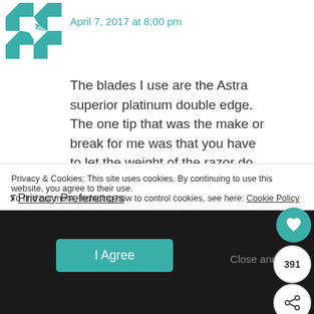[Figure (illustration): Teal/white geometric quilt-pattern avatar square]
April 7, 2017 at 8:00 pm
The blades I use are the Astra superior platinum double edge. The one tip that was the make or break for me was that you have to let the weight of the razor do the work. You absolutely cannot push down while you shave because that might cause too much irritation. Also, the angle is important. If you go really slow and slightly angle the razor as you
Privacy & Cookies: This site uses cookies. By continuing to use this website, you agree to their use.
To find out more, including how to control cookies, see here: Cookie Policy
Privacy Preferences
I Agree
Close and acce…